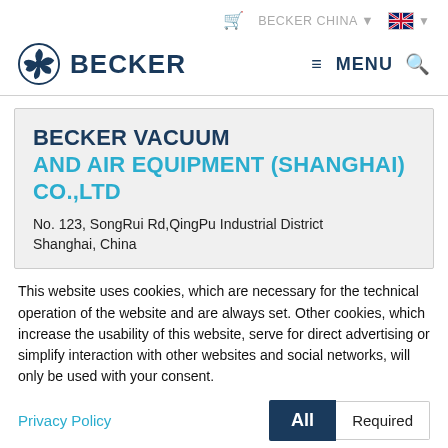BECKER CHINA  [UK flag]
[Figure (logo): Becker logo: circular icon with fan blades and BECKER wordmark in dark navy]
≡ MENU 🔍
BECKER VACUUM AND AIR EQUIPMENT (SHANGHAI) CO.,LTD
No. 123, SongRui Rd,QingPu Industrial District Shanghai, China
This website uses cookies, which are necessary for the technical operation of the website and are always set. Other cookies, which increase the usability of this website, serve for direct advertising or simplify interaction with other websites and social networks, will only be used with your consent.
Privacy Policy  [All] [Required]